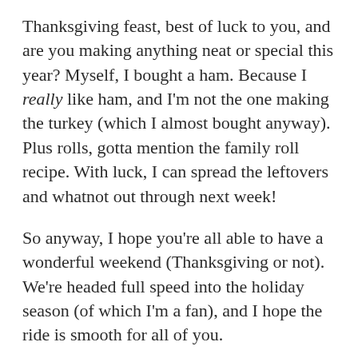Thanksgiving feast, best of luck to you, and are you making anything neat or special this year? Myself, I bought a ham. Because I really like ham, and I'm not the one making the turkey (which I almost bought anyway). Plus rolls, gotta mention the family roll recipe. With luck, I can spread the leftovers and whatnot out through next week!
So anyway, I hope you're all able to have a wonderful weekend (Thanksgiving or not). We're headed full speed into the holiday season (of which I'm a fan), and I hope the ride is smooth for all of you.
Happy Thanksgiving, everyone.